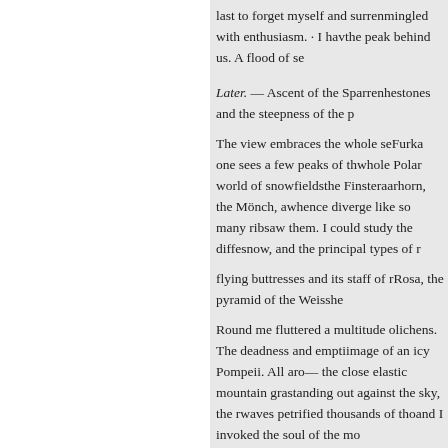last to forget myself and surren mingled with enthusiasm. · I hav the peak behind us. A flood of se
Later. — Ascent of the Sparrenhe stones and the steepness of the p
The view embraces the whole se Furka one sees a few peaks of th whole Polar world of snowfields the Finsteraarhorn, the Mönch, a whence diverge like so many rib saw them. I could study the diffe snow, and the principal types of
flying buttresses and its staff of r Rosa, the pyramid of the Weisshe
Round me fluttered a multitude o lichens. The deadness and empti image of an icy Pompeii. All aro — the close elastic mountain gra standing out against the sky, the waves petrified thousands of tho and I invoked the soul of the mo